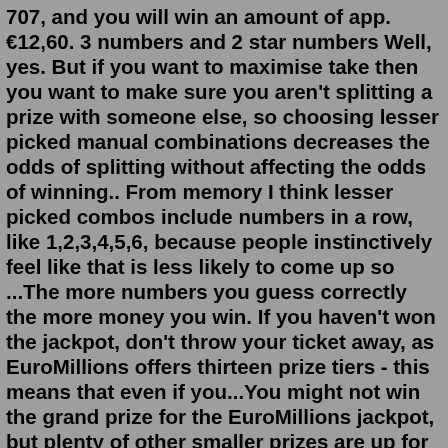707, and you will win an amount of app. €12,60. 3 numbers and 2 star numbers Well, yes. But if you want to maximise take then you want to make sure you aren't splitting a prize with someone else, so choosing lesser picked manual combinations decreases the odds of splitting without affecting the odds of winning.. From memory I think lesser picked combos include numbers in a row, like 1,2,3,4,5,6, because people instinctively feel like that is less likely to come up so ...The more numbers you guess correctly the more money you win. If you haven't won the jackpot, don't throw your ticket away, as EuroMillions offers thirteen prize tiers - this means that even if you...You might not win the grand prize for the EuroMillions jackpot, but plenty of other smaller prizes are up for grabs for getting just two numbers matched in the draw. A standard EuroMillions ticket costs just £2.50 and you can win back your fee with two numbers. How much do you get for 2 lucky stars on EuroMillions?Choose your draw days. Decide whether to enter your numbers